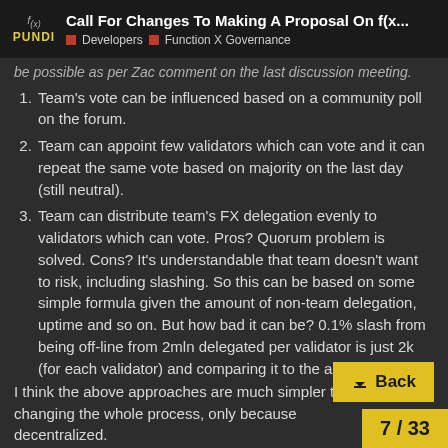Call For Changes To Making A Proposal On f(x... | Developers | Function X Governance
be possible as per Zac comment on the last discussion meeting.
Team's vote can be influenced based on a community poll on the forum.
Team can appoint few validators which can vote and it can repeat the same vote based on majority on the last day (still neutral).
Team can distribute team's FX delegation evenly to validators which can vote. Pros? Quorum problem is solved. Cons? It's understandable that team doesn't want to risk, including slashing. So this can be based on some simple formula given the amount of non-team delegation, uptime and so on. But how bad it can be? 0.1% slash from being off-line from 2mln delegated per validator is just 2k (for each validator) and comparing it to the amount of deposits being lost it's no
I think the above approaches are much simpler to apply than changing the whole process, only because decentralized.